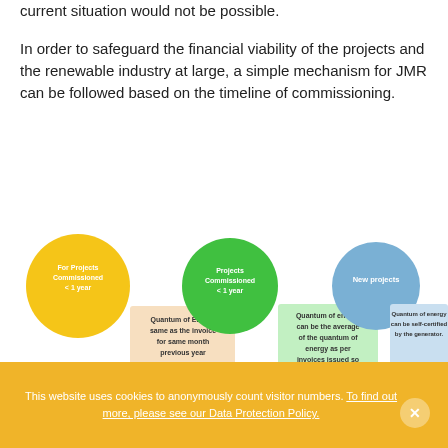current situation would not be possible.
In order to safeguard the financial viability of the projects and the renewable industry at large, a simple mechanism for JMR can be followed based on the timeline of commissioning.
[Figure (infographic): Three-part infographic diagram showing JMR mechanisms by project type. Left: Yellow circle labeled 'For Projects Commissioned < 1 year' with a peach/orange box saying 'Quantum of Energy same as the invoice for same month previous year'. Middle: Green circle labeled 'Projects Commissioned < 1 year' with a light green box saying 'Quantum of energy can be the average of the quantum of energy as per invoices issued so far'. Right: Blue circle labeled 'New projects' with a light blue box saying 'Quantum of energy can be self-certified by the generator.']
This website uses cookies to anonymously count visitor numbers. To find out more, please see our Data Protection Policy.